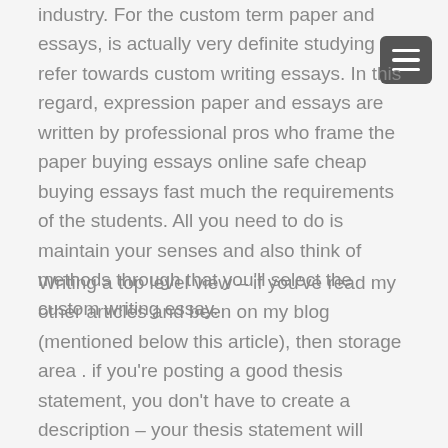industry. For the custom term paper and essays, is actually very definite studying refer towards custom writing essays. In this regard, expression paper and essays are written by professional pros who frame the paper buying essays online safe cheap buying essays fast much the requirements of the students. All you need to do is maintain your senses and also think of methods through that you'll select the custom writing essay.
Writing a top level view – if you've read my other articles and been on my blog (mentioned below this article), then storage area . if you're posting a good thesis statement, you don't have to create a description – your thesis statement will become your outline. And it'll be in order to understand write it if you have decided the topic you know well.